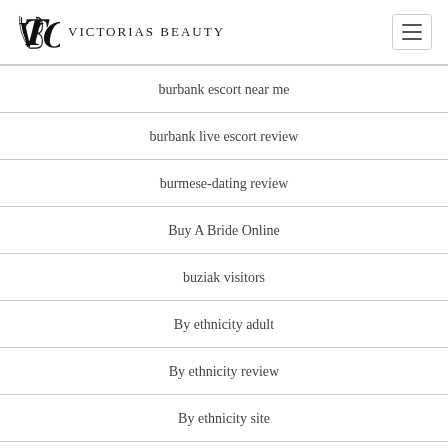Victorias Beauty
burbank escort near me
burbank live escort review
burmese-dating review
Buy A Bride Online
buziak visitors
By ethnicity adult
By ethnicity review
By ethnicity site
By ethnicity visitors